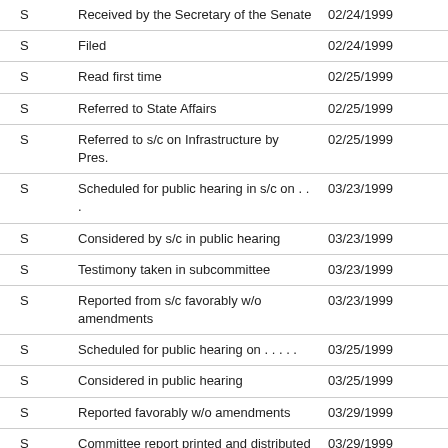|  |  |  |
| --- | --- | --- |
| S | Received by the Secretary of the Senate | 02/24/1999 |
| S | Filed | 02/24/1999 |
| S | Read first time | 02/25/1999 |
| S | Referred to State Affairs | 02/25/1999 |
| S | Referred to s/c on Infrastructure by Pres. | 02/25/1999 |
| S | Scheduled for public hearing in s/c on . . . | 03/23/1999 |
| S | Considered by s/c in public hearing | 03/23/1999 |
| S | Testimony taken in subcommittee | 03/23/1999 |
| S | Reported from s/c favorably w/o amendments | 03/23/1999 |
| S | Scheduled for public hearing on . . . . . | 03/25/1999 |
| S | Considered in public hearing | 03/25/1999 |
| S | Reported favorably w/o amendments | 03/29/1999 |
| S | Committee report printed and distributed | 03/29/1999 |